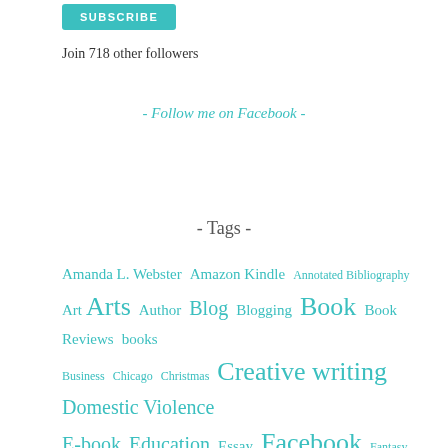SUBSCRIBE
Join 718 other followers
- Follow me on Facebook -
- Tags -
Amanda L. Webster Amazon Kindle Annotated Bibliography Art Arts Author Blog Blogging Book Book Reviews books Business Chicago Christmas Creative writing Domestic Violence E-book Education Essay Facebook Fantasy Fiction Fiction writing Flash fiction Freewriting Friday GoodReads Home Illinois Life Writing Literature Mandy Webster Memoir